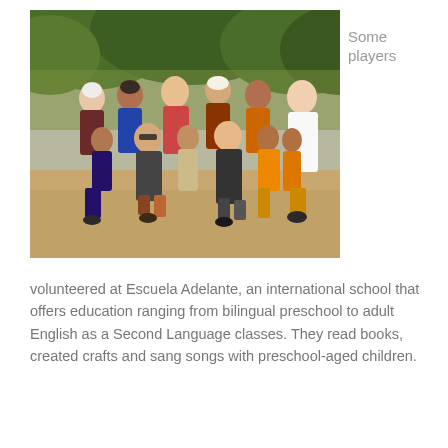[Figure (photo): Group photo of approximately 12 people including adults and children posing together outdoors on a dirt path with green trees in the background.]
Some players
volunteered at Escuela Adelante, an international school that offers education ranging from bilingual preschool to adult English as a Second Language classes. They read books, created crafts and sang songs with preschool-aged children.